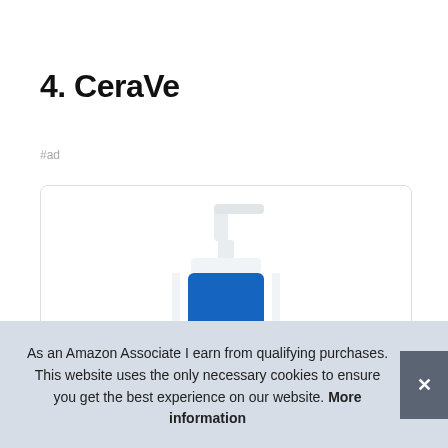4. CeraVe
#ad
[Figure (photo): CeraVe lotion pump bottle with blue pump top and blue label band, partially visible product image inside a rounded card with 'Lotion' text at bottom]
As an Amazon Associate I earn from qualifying purchases. This website uses the only necessary cookies to ensure you get the best experience on our website. More information